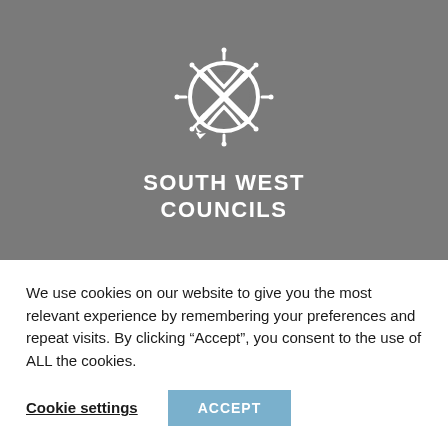[Figure (logo): South West Councils logo — compass/wheel symbol with an X cross pattern inside a circle with radiating spokes, white on grey background]
SOUTH WEST COUNCILS
We use cookies on our website to give you the most relevant experience by remembering your preferences and repeat visits. By clicking “Accept”, you consent to the use of ALL the cookies.
Cookie settings  ACCEPT